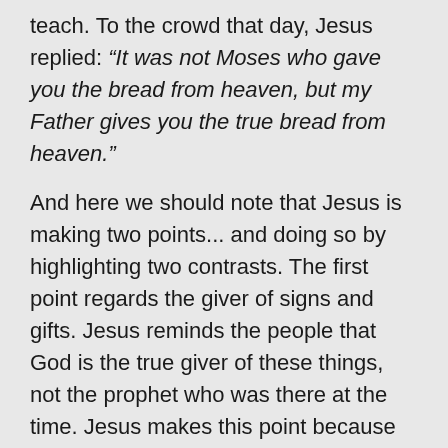teach. To the crowd that day, Jesus replied: “It was not Moses who gave you the bread from heaven, but my Father gives you the true bread from heaven.”
And here we should note that Jesus is making two points... and doing so by highlighting two contrasts. The first point regards the giver of signs and gifts. Jesus reminds the people that God is the true giver of these things, not the prophet who was there at the time. Jesus makes this point because he knows that people tend to focus on the prophet, and that the people were comparing him with the prophet Moses – trying to decide if he was in the same league.
Jesus’ words here make it clear that he was not to be considered in the same league as Moses. Rather, he